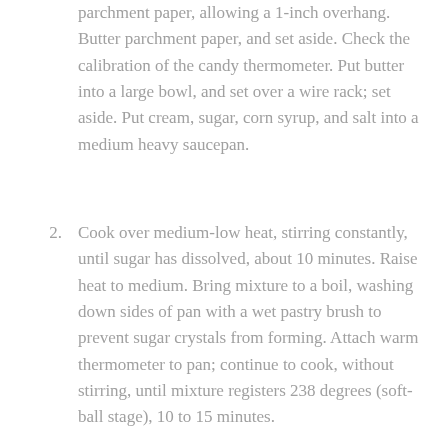Butter an 8-inch square baking pan; line with parchment paper, allowing a 1-inch overhang. Butter parchment paper, and set aside. Check the calibration of the candy thermometer. Put butter into a large bowl, and set over a wire rack; set aside. Put cream, sugar, corn syrup, and salt into a medium heavy saucepan.
Cook over medium-low heat, stirring constantly, until sugar has dissolved, about 10 minutes. Raise heat to medium. Bring mixture to a boil, washing down sides of pan with a wet pastry brush to prevent sugar crystals from forming. Attach warm thermometer to pan; continue to cook, without stirring, until mixture registers 238 degrees (soft-ball stage), 10 to 15 minutes.